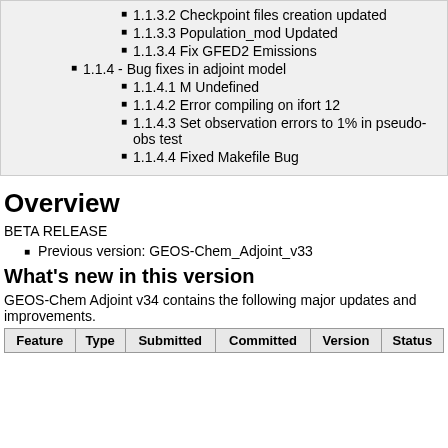1.1.3.2 Checkpoint files creation updated
1.1.3.3 Population_mod Updated
1.1.3.4 Fix GFED2 Emissions
1.1.4 - Bug fixes in adjoint model
1.1.4.1 M Undefined
1.1.4.2 Error compiling on ifort 12
1.1.4.3 Set observation errors to 1% in pseudo-obs test
1.1.4.4 Fixed Makefile Bug
Overview
BETA RELEASE
Previous version: GEOS-Chem_Adjoint_v33
What's new in this version
GEOS-Chem Adjoint v34 contains the following major updates and improvements.
| Feature | Type | Submitted | Committed | Version | Status |
| --- | --- | --- | --- | --- | --- |